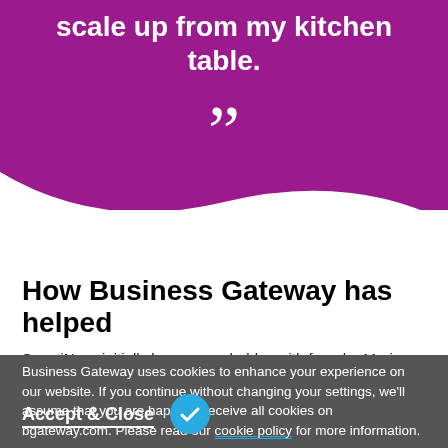scale up from my kitchen table.
[Figure (illustration): Large closing double quotation marks in white on purple background]
How Business Gateway has helped
ScentiNess initially began as a hobby, with founder Marie starting it alongside her full-time job as a Harris Tweed weaver. However, the national lockdown in 2020 gave her time to develop her spark of an
Business Gateway uses cookies to enhance your experience on our website. If you continue without changing your settings, we'll assume that you are happy to receive all cookies on bgateway.com. Please read our cookie policy for more information.
Accept & Close